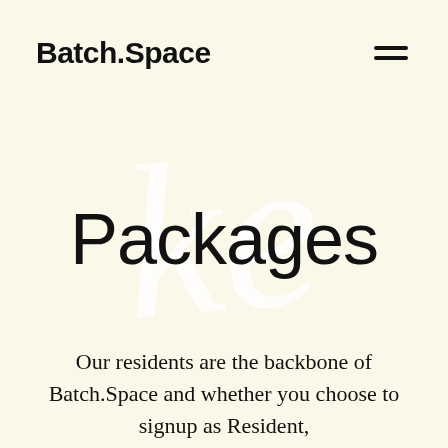Batch.Space
Packages
Our residents are the backbone of Batch.Space and whether you choose to signup as Resident,